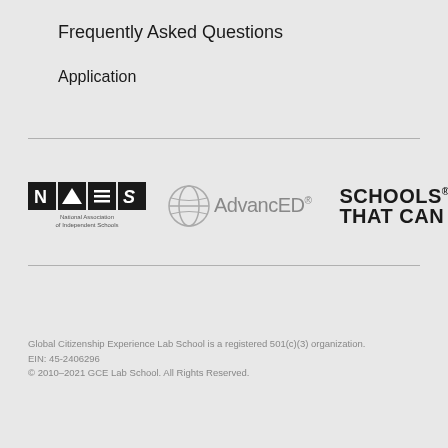Frequently Asked Questions
Application
[Figure (logo): Three logos: NAIS (National Association of Independent Schools), AdvancED, and Schools That Can]
Global Citizenship Experience Lab School is a registered 501(c)(3) organization.
EIN: 45-2406296
© 2010–2021 GCE Lab School. All Rights Reserved.